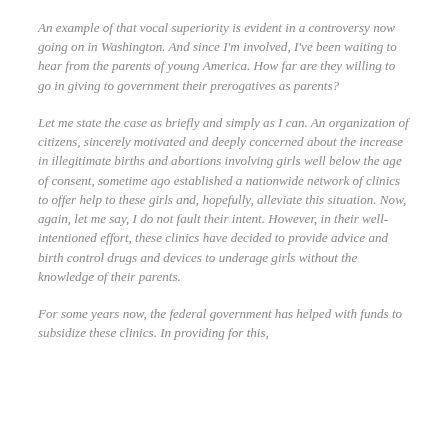An example of that vocal superiority is evident in a controversy now going on in Washington. And since I'm involved, I've been waiting to hear from the parents of young America. How far are they willing to go in giving to government their prerogatives as parents?
Let me state the case as briefly and simply as I can. An organization of citizens, sincerely motivated and deeply concerned about the increase in illegitimate births and abortions involving girls well below the age of consent, sometime ago established a nationwide network of clinics to offer help to these girls and, hopefully, alleviate this situation. Now, again, let me say, I do not fault their intent. However, in their well-intentioned effort, these clinics have decided to provide advice and birth control drugs and devices to underage girls without the knowledge of their parents.
For some years now, the federal government has helped with funds to subsidize these clinics. In providing for this,